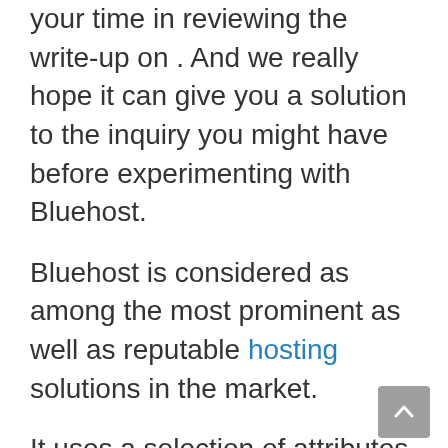your time in reviewing the write-up on . And we really hope it can give you a solution to the inquiry you might have before experimenting with Bluehost.
Bluehost is considered as among the most prominent as well as reputable hosting solutions in the market.
It uses a selection of attributes that make it stand out from other companies, such as lightning-fast speed, a 100% uptime guarantee, and also an extraordinary support group to assist your organization to do well online.
We've been using Bluehost for our own site given that they launched in 2015, so we